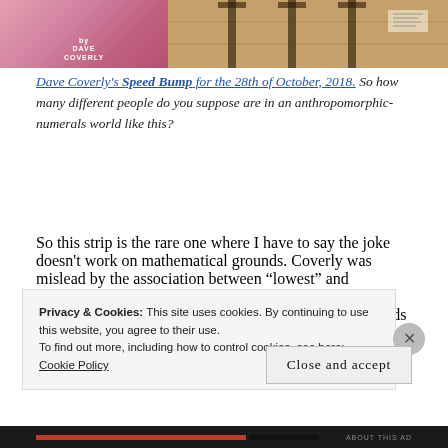[Figure (illustration): Two-panel comic strip. Left panel shows pink/rose background with 'by Dave Coverly' text. Right panel shows a brown/tan wooden background scene.]
Dave Coverly's Speed Bump for the 28th of October, 2018. So how many different people do you suppose are in an anthropomorphic-numerals world like this?
So this strip is the rare one where I have to say the joke doesn't work on mathematical grounds. Coverly was mislead by the association between “lowest” and “smallest”. 2 is going to be the lowest common denominator very rarely. Everything in the problem needs to be in terms of even denominators to start with, and even that won’t guarantee it. I hate to do
Privacy & Cookies: This site uses cookies. By continuing to use this website, you agree to their use.
To find out more, including how to control cookies, see here: Cookie Policy
Close and accept